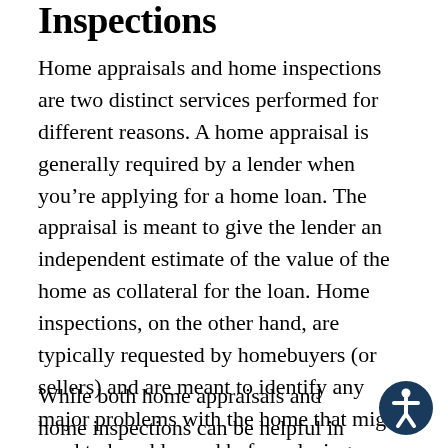Inspections
Home appraisals and home inspections are two distinct services performed for different reasons. A home appraisal is generally required by a lender when you're applying for a home loan. The appraisal is meant to give the lender an independent estimate of the value of the home as collateral for the loan. Home inspections, on the other hand, are typically requested by homebuyers (or sellers) and are meant to identify any major problems with the home that might need to be addressed before closing on the sale.
While both home appraisals and home inspections can be helpful in their own way,